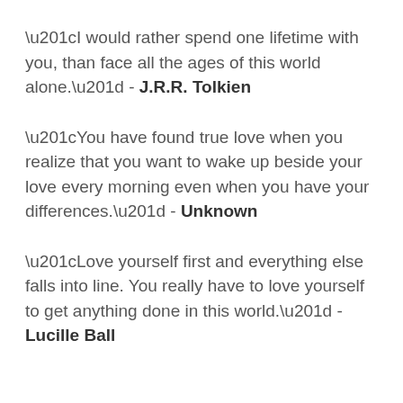“I would rather spend one lifetime with you, than face all the ages of this world alone.” - J.R.R. Tolkien
“You have found true love when you realize that you want to wake up beside your love every morning even when you have your differences.” - Unknown
“Love yourself first and everything else falls into line. You really have to love yourself to get anything done in this world.” - Lucille Ball